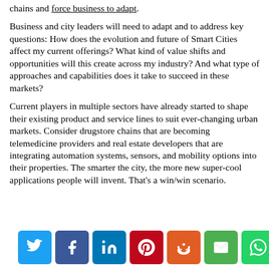chains and force business to adapt.
Business and city leaders will need to adapt and to address key questions: How does the evolution and future of Smart Cities affect my current offerings? What kind of value shifts and opportunities will this create across my industry? And what type of approaches and capabilities does it take to succeed in these markets?
Current players in multiple sectors have already started to shape their existing product and service lines to suit ever-changing urban markets. Consider drugstore chains that are becoming telemedicine providers and real estate developers that are integrating automation systems, sensors, and mobility options into their properties. The smarter the city, the more new super-cool applications people will invent. That’s a win/win scenario.
[Figure (infographic): Social sharing bar with Twitter, Facebook, LinkedIn, Pinterest, Reddit, Email, WhatsApp buttons and 1.5k shares count]